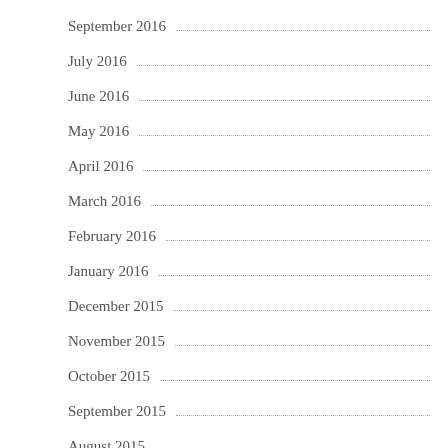September 2016
July 2016
June 2016
May 2016
April 2016
March 2016
February 2016
January 2016
December 2015
November 2015
October 2015
September 2015
August 2015
Categories